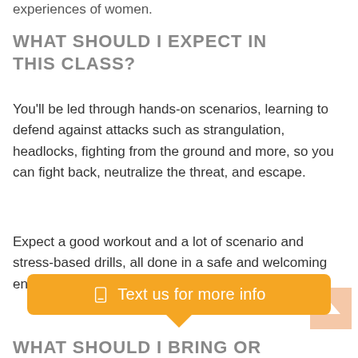experiences of women.
WHAT SHOULD I EXPECT IN THIS CLASS?
You’ll be led through hands-on scenarios, learning to defend against attacks such as strangulation, headlocks, fighting from the ground and more, so you can fight back, neutralize the threat, and escape.
Expect a good workout and a lot of scenario and stress-based drills, all done in a safe and welcoming environment for any level of fitness and martial arts experience.
[Figure (other): Orange CTA button with phone icon reading 'Text us for more info' with a downward pointing arrow/tooltip tail]
WHAT SHOULD I BRING OR